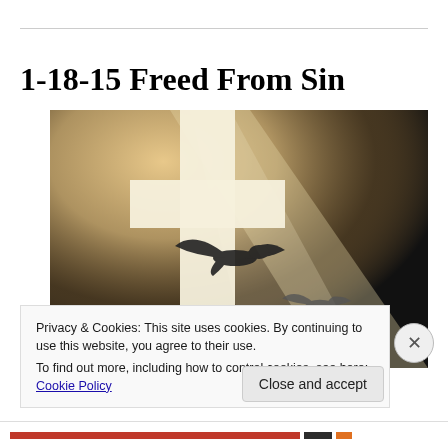1-18-15 Freed From Sin
[Figure (photo): A glowing white cross with rays of light against a dark background, with silhouettes of two doves in flight]
Privacy & Cookies: This site uses cookies. By continuing to use this website, you agree to their use.
To find out more, including how to control cookies, see here: Cookie Policy
Close and accept